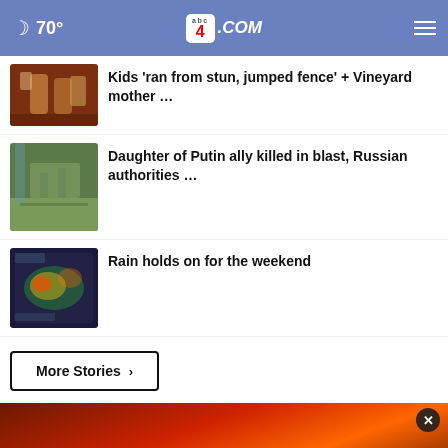🌙 70° | abc4.COM | menu
Kids 'ran from stun, jumped fence' + Vineyard mother …
Daughter of Putin ally killed in blast, Russian authorities …
Rain holds on for the weekend
More Stories ›
[Figure (screenshot): Advertisement showing a man on fire background with Chris Cuomo coming to NewsNation this fall. Bottom banner: CHRIS CUOMO COMING THIS FALL TO [NEWSNATION] FIND YOUR CHANNEL]